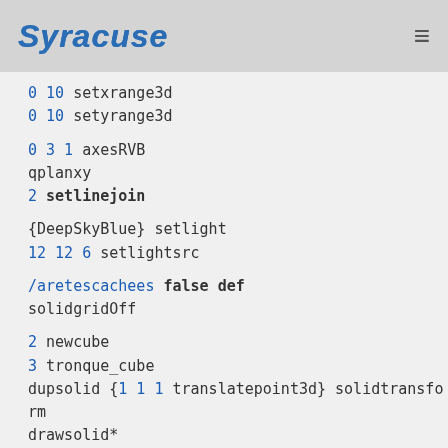Syracuse
0 10 setxrange3d
0 10 setyrange3d

0 3 1 axesRVB
qplanxy
2 setlinejoin

{DeepSkyBlue} setlight
12 12 6 setlightsrc

/aretescachees false def
solidgridOff

2 newcube
3 tronque_cube
dupsolid {1 1 1 translatepoint3d} solidtransform
drawsolid*
dupsolid {9 9 1 translatepoint3d} solidtransform
drawsolid*
dupsolid {1 9 1 translatepoint3d} solidtransfo